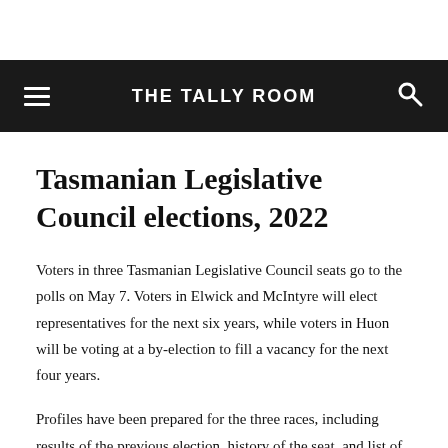THE TALLY ROOM
Tasmanian Legislative Council elections, 2022
Voters in three Tasmanian Legislative Council seats go to the polls on May 7. Voters in Elwick and McIntyre will elect representatives for the next six years, while voters in Huon will be voting at a by-election to fill a vacancy for the next four years.
Profiles have been prepared for the three races, including results of the previous election, history of the seat, and list of